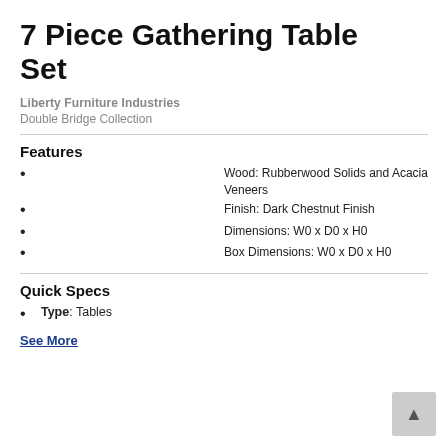7 Piece Gathering Table Set
Liberty Furniture Industries
Double Bridge Collection
Features
Wood: Rubberwood Solids and Acacia Veneers
Finish: Dark Chestnut Finish
Dimensions: W0 x D0 x H0
Box Dimensions: W0 x D0 x H0
Quick Specs
Type: Tables
See More